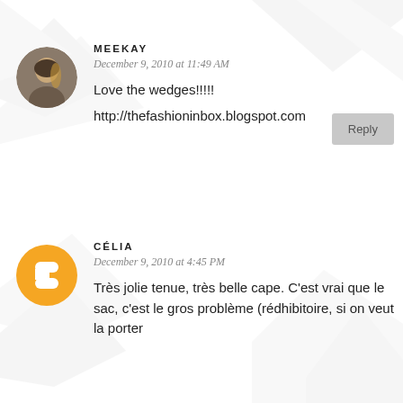MEEKAY
December 9, 2010 at 11:49 AM
Love the wedges!!!!!
http://thefashioninbox.blogspot.com
CÉLIA
December 9, 2010 at 4:45 PM
Très jolie tenue, très belle cape. C'est vrai que le sac, c'est le gros problème (rédhibitoire, si on veut la porter